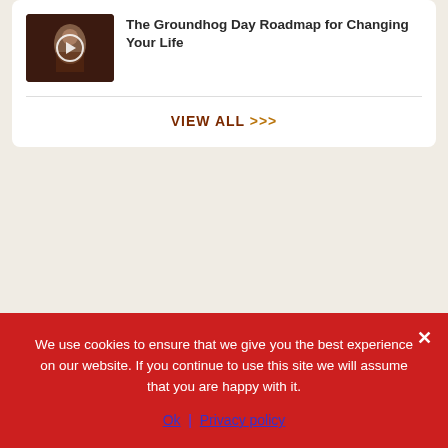[Figure (screenshot): Thumbnail image of a video with a play button overlay, dark brownish background with a figure]
The Groundhog Day Roadmap for Changing Your Life
VIEW ALL >>>
We use cookies to ensure that we give you the best experience on our website. If you continue to use this site we will assume that you are happy with it.
Ok | Privacy policy